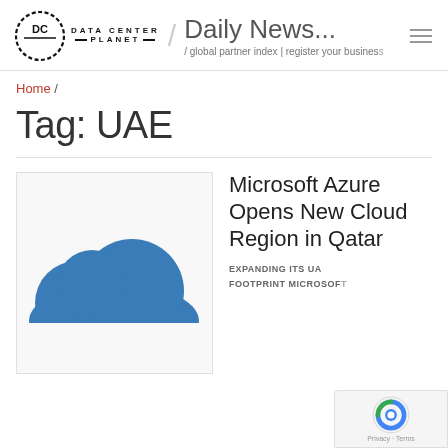Data Center Planet / Daily News... / global partner index | register your business
Home /
Tag: UAE
[Figure (illustration): Blue cloud icon representing Microsoft Azure cloud services]
Microsoft Azure Opens New Cloud Region in Qatar
EXPANDING ITS UA... FOOTPRINT Microsoft...